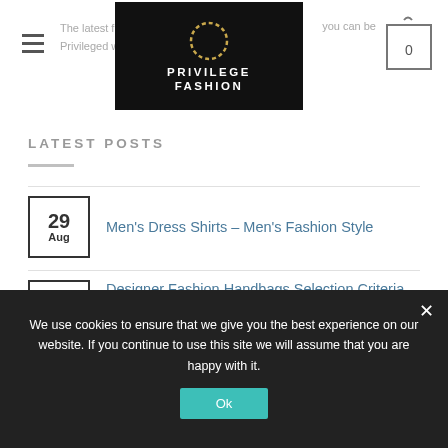Privilege Fashion — The latest fashion you can be Privileged with
LATEST POSTS
29 Aug — Men's Dress Shirts – Men's Fashion Style
24 Aug — Designer Fashion Handbags Selection Criteria — Comments Off
19 Aug — Cowgirl Fashion – Yesterday and Today — Comments Off
09 Aug — Fashion Designer...
We use cookies to ensure that we give you the best experience on our website. If you continue to use this site we will assume that you are happy with it.